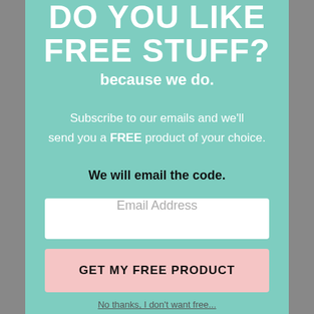DO YOU LIKE FREE STUFF?
because we do.
Subscribe to our emails and we'll send you a FREE product of your choice.
We will email the code.
Email Address
GET MY FREE PRODUCT
No thanks, I don't want free...